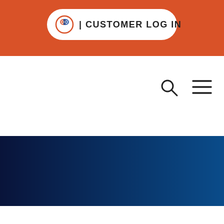[Figure (screenshot): Website header with orange background bar containing a Customer Log In button with a chain-link logo icon, a white navigation area below with search and hamburger menu icons on the right, and a dark blue gradient hero banner below that.]